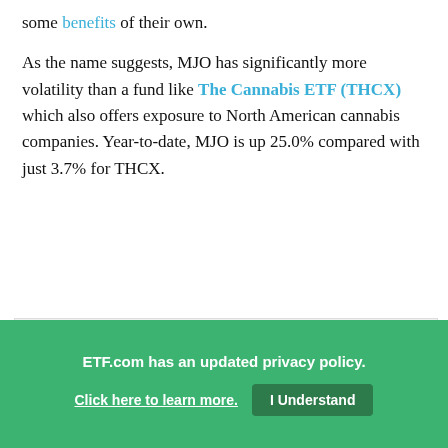some benefits of their own.
As the name suggests, MJO has significantly more volatility than a fund like The Cannabis ETF (THCX) which also offers exposure to North American cannabis companies. Year-to-date, MJO is up 25.0% compared with just 3.7% for THCX.
[Figure (line-chart): Line chart comparing MJO (Daily) 25.00% and THCX 3.70% performance, dated 12-Nov-2021. Y-axis from ~60% to 130%. MJO line shows high spike then decline, THCX line relatively flat.]
ETF.com has an updated privacy policy.
Click here to learn more.  I Understand